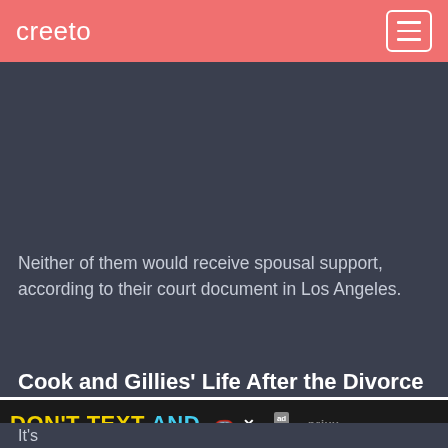creeto
[Figure (photo): Dark gray background image area, large section with no visible image content, filling the upper-center portion of the page below header.]
Neither of them would receive spousal support, according to their court document in Los Angeles.
Cook and Gillies' Life After the Divorce
It's